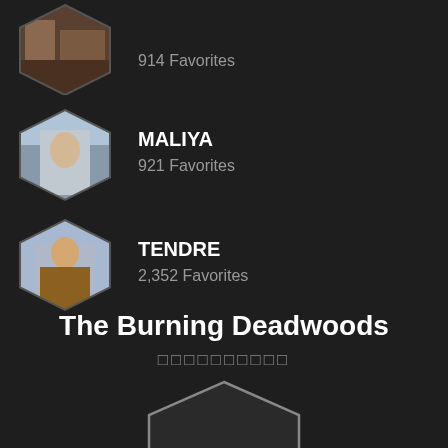[Figure (photo): Hexagonal artist photo (partial, top-cropped) with warm indoor scene]
914 Favorites
[Figure (photo): Hexagonal artist photo of person by water/sea]
MALIYA
921 Favorites
[Figure (photo): Hexagonal artist photo of person in brown jacket]
TENDRE
2,352 Favorites
The Burning Deadwoods
□□□□□□□□□□
[Figure (illustration): Partial hexagonal shape outline at bottom of page]